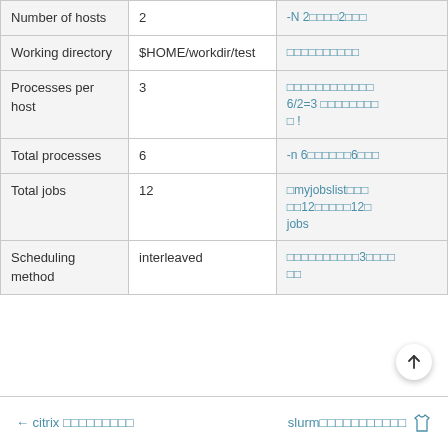|  |  |  |
| --- | --- | --- |
| Number of hosts | 2 | -N 2□□□□2□□□ |
| Working directory | $HOME/workdir/test | □□□□□□□□□□ |
| Processes per host | 3 | □□□□□□□□□□□□
6/2=3 □□□□□□□□
□ ! |
| Total processes | 6 | -n 6□□□□□□6□□□ |
| Total jobs | 12 | □myjobslist□□□
□□12□□□□□12□
jobs |
| Scheduling method | interleaved | □□□□□□□□□□3□□□□
□□ |
← citrix □□□□□□□□□   slurm□□□□□□□□□□□